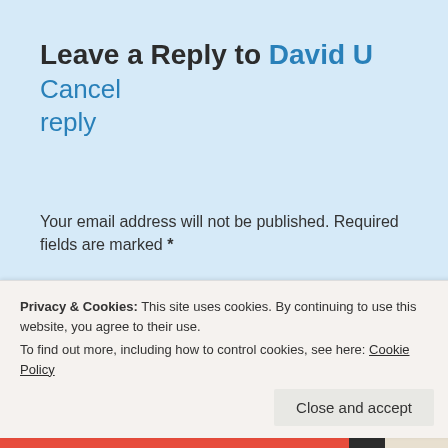Leave a Reply to David U Cancel reply
Your email address will not be published. Required fields are marked *
Comment *
Privacy & Cookies: This site uses cookies. By continuing to use this website, you agree to their use.
To find out more, including how to control cookies, see here: Cookie Policy
Close and accept